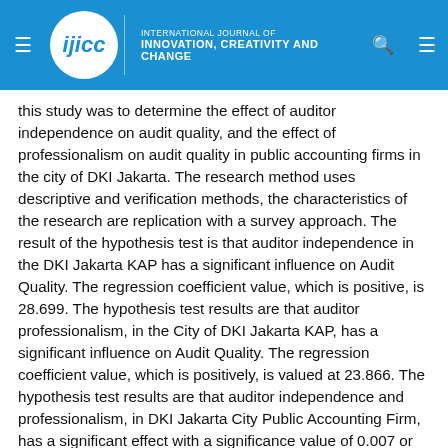INTERNATIONAL JOURNAL OF INNOVATION, CREATIVITY AND CHANGE
this study was to determine the effect of auditor independence on audit quality, and the effect of professionalism on audit quality in public accounting firms in the city of DKI Jakarta. The research method uses descriptive and verification methods, the characteristics of the research are replication with a survey approach. The result of the hypothesis test is that auditor independence in the DKI Jakarta KAP has a significant influence on Audit Quality. The regression coefficient value, which is positive, is 28.699. The hypothesis test results are that auditor professionalism, in the City of DKI Jakarta KAP, has a significant influence on Audit Quality. The regression coefficient value, which is positively, is valued at 23.866. The hypothesis test results are that auditor independence and professionalism, in DKI Jakarta City Public Accounting Firm, has a significant effect with a significance value of 0.007 or 0.7% < 5%. These results show that Independence (X1) and Professionalism (X2) have a significant influence on Audit Quality (Y). Pages 71 to 81